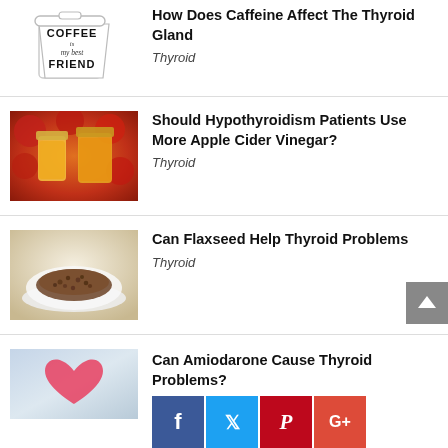[Figure (illustration): Coffee cup illustration with text 'COFFEE is my best FRIEND']
How Does Caffeine Affect The Thyroid Gland
Thyroid
[Figure (photo): Photo of apple cider vinegar in mason jars with red apples in background]
Should Hypothyroidism Patients Use More Apple Cider Vinegar?
Thyroid
[Figure (photo): Photo of flaxseeds in a white dish on a light background]
Can Flaxseed Help Thyroid Problems
Thyroid
[Figure (photo): Photo of person holding a red heart shape]
Can Amiodarone Cause Thyroid Problems?